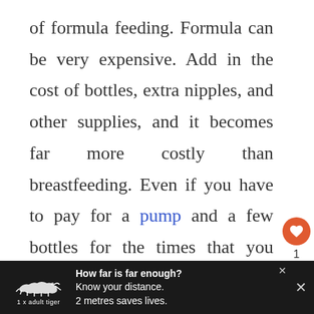of formula feeding. Formula can be very expensive. Add in the cost of bottles, extra nipples, and other supplies, and it becomes far more costly than breastfeeding. Even if you have to pay for a pump and a few bottles for the times that you can't breastfeed, you will still be paying less overall.
[Figure (infographic): Advertisement banner with tiger illustration and text: 'How far is far enough? Know your distance. 2 metres saves lives.' with close buttons and signal icon.]